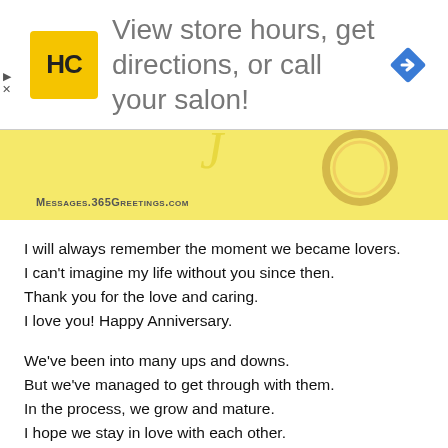[Figure (screenshot): Advertisement banner with HC logo (yellow square), text 'View store hours, get directions, or call your salon!', and a blue diamond navigation icon on the right]
[Figure (photo): Partial image strip with yellow background showing rings/jewelry, with a caret/chevron button and MESSAGES.365GREETINGS.COM watermark text]
I will always remember the moment we became lovers.
I can't imagine my life without you since then.
Thank you for the love and caring.
I love you! Happy Anniversary.
We've been into many ups and downs.
But we've managed to get through with them.
In the process, we grow and mature.
I hope we stay in love with each other.
Happy Anniversary.
I Love You. I know saying those words are not enough to express my feelings to you. On our anniversary,